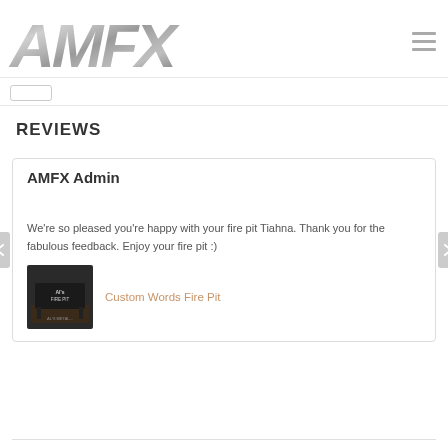[Figure (logo): AMFX metallic chrome logo with italic bold text]
Navigation bar with back button
REVIEWS
AMFX Admin
We're so pleased you're happy with your fire pit Tiahna. Thank you for the fabulous feedback. Enjoy your fire pit :)
[Figure (photo): Product photo of a custom words fire pit with 'Al's Fire Pit' text on a black metal base]
Custom Words Fire Pit